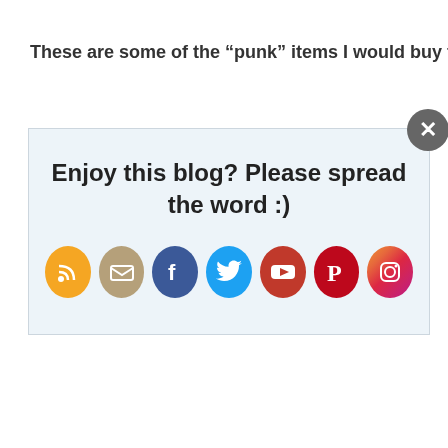These are some of the “punk” items I would buy for my
[Figure (screenshot): Modal popup overlay saying 'Enjoy this blog? Please spread the word :)' with 7 social media icons (RSS, Email, Facebook, Twitter, YouTube, Pinterest, Instagram) and a close button (X) in the top right corner]
Beyonce’s
Legion Of Loyal Fans
Converse Tees • Tom Binns Necklaces • Bernhard Willhelm Leggings
[Figure (screenshot): Social share buttons row: Facebook, Twitter, Email/print, Pinterest, Google+, count showing 60, and a Follow button on the right]